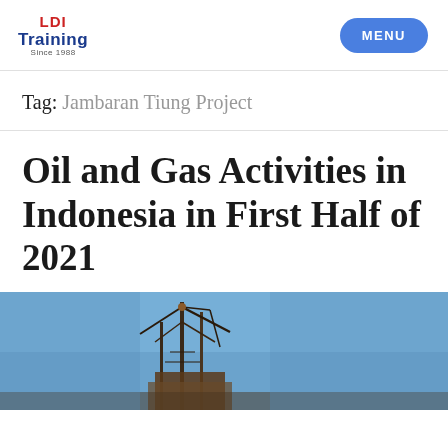LDI Training Since 1988 | MENU
Tag: Jambaran Tiung Project
Oil and Gas Activities in Indonesia in First Half of 2021
[Figure (photo): Photograph of an oil and gas installation or statue against a blue sky, partially visible at the bottom of the page]